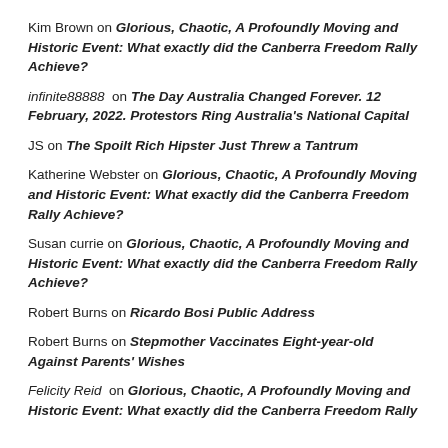Kim Brown on Glorious, Chaotic, A Profoundly Moving and Historic Event: What exactly did the Canberra Freedom Rally Achieve?
infinite88888 on The Day Australia Changed Forever. 12 February, 2022. Protestors Ring Australia's National Capital
JS on The Spoilt Rich Hipster Just Threw a Tantrum
Katherine Webster on Glorious, Chaotic, A Profoundly Moving and Historic Event: What exactly did the Canberra Freedom Rally Achieve?
Susan currie on Glorious, Chaotic, A Profoundly Moving and Historic Event: What exactly did the Canberra Freedom Rally Achieve?
Robert Burns on Ricardo Bosi Public Address
Robert Burns on Stepmother Vaccinates Eight-year-old Against Parents' Wishes
Felicity Reid on Glorious, Chaotic, A Profoundly Moving and Historic Event: What exactly did the Canberra Freedom Rally